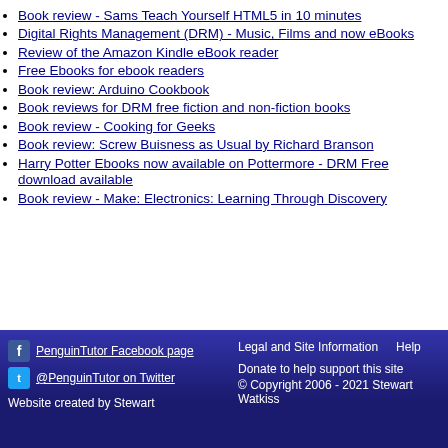Book review - Sams Teach Yourself HTML5 in 10 minutes
Digital Rights Management (DRM) - Music, Films and now eBooks
Review of the Amazon Kindle eBook reader
Free Ebooks for ebook readers
Book review: Arduino Cookbook
Book reviews for DRM free fiction and non-fiction books
Book review - Cooking for Geeks
Book review: Screw Buisness as Usual by Richard Branson
Harry Potter Ebooks now available on Pottermore - DRM Free download available
Book review - Make: Electronics: Learning Through Discovery
Legal and Site Information | Help | PenguinTutor Facebook page | @PenguinTutor on Twitter | Website created by Stewart | Donate to help support this site | © Copyright 2006 - 2021 Stewart Watkiss